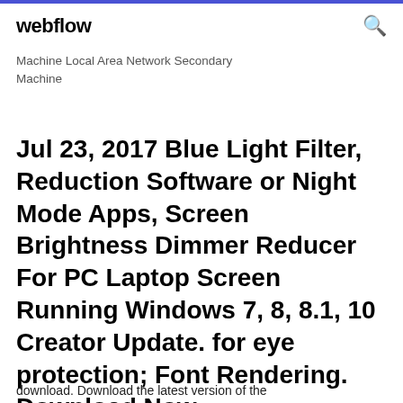webflow
Machine Local Area Network Secondary Machine
Jul 23, 2017 Blue Light Filter, Reduction Software or Night Mode Apps, Screen Brightness Dimmer Reducer For PC Laptop Screen Running Windows 7, 8, 8.1, 10 Creator Update. for eye protection; Font Rendering. Download Now
download. Download the latest version of the